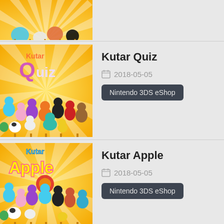[Figure (illustration): Partial view of a game cover with cartoon cats on orange sunburst background (top of entry cropped)]
Kutar Quiz
2018-05-05
Nintendo 3DS eShop
[Figure (illustration): Kutar Apple game cover: orange sunburst background with colorful cartoon cats and 'Kutar Apple' logo in pink/yellow letters]
Kutar Apple
2018-05-05
Nintendo 3DS eShop